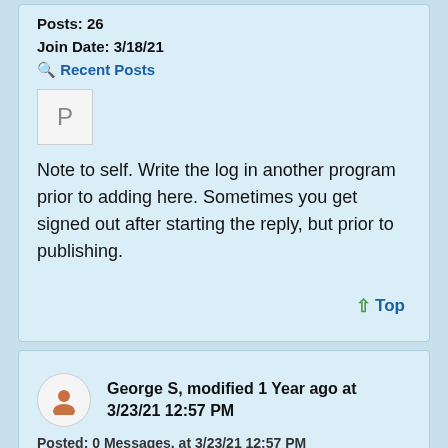Posts: 26
Join Date: 3/18/21
Recent Posts
[Figure (other): Avatar placeholder box with letter P]
Note to self. Write the log in another program prior to adding here. Sometimes you get signed out after starting the reply, but prior to publishing.
↑ Top
George S, modified 1 Year ago at 3/23/21 12:57 PM
Posted: 0 Messages, at 3/23/21 12:57 PM